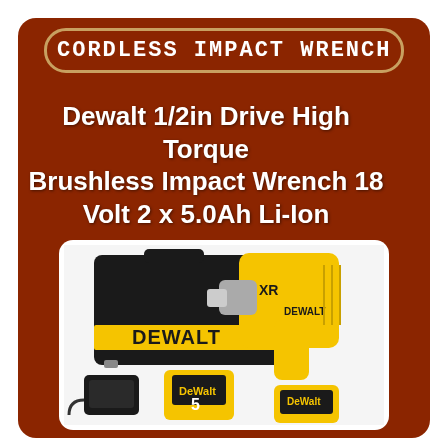Cordless Impact Wrench
Dewalt 1/2in Drive High Torque Brushless Impact Wrench 18 Volt 2 x 5.0Ah Li-Ion
[Figure (photo): Photo of Dewalt XR 18V brushless impact wrench kit including the impact wrench tool, DeWalt branded carry case, two 5Ah Li-Ion batteries, and a charger]